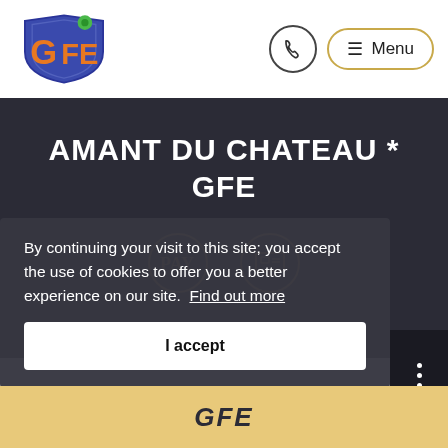[Figure (logo): GFE logo with shield and stylized letters]
[Figure (infographic): Phone icon in circle and hamburger menu pill labeled Menu]
AMANT DU CHATEAU * GFE
[Figure (infographic): Two circular badge icons with gold borders — PAY and a cash/card icon]
By continuing your visit to this site; you accept the use of cookies to offer you a better experience on our site. Find out more
I accept